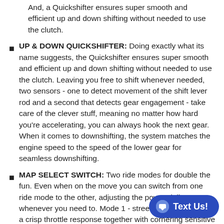And, a Quickshifter ensures super smooth and efficient up and down shifting without needed to use the clutch.
UP & DOWN QUICKSHIFTER: Doing exactly what its name suggests, the Quickshifter ensures super smooth and efficient up and down shifting without needed to use the clutch. Leaving you free to shift whenever needed, two sensors - one to detect movement of the shift lever rod and a second that detects gear engagement - take care of the clever stuff, meaning no matter how hard you're accelerating, you can always hook the next gear. When it comes to downshifting, the system matches the engine speed to the speed of the lower gear for seamless downshifting.
MAP SELECT SWITCH: Two ride modes for double the fun. Even when on the move you can switch from one ride mode to the other, adjusting the power delivery whenever you need to. Mode 1 - street mode - delivering a crisp throttle response together with cornering sensitive ABS and traction control. We like to think of it as the controlled street riding mode! Mode 2 - offroad mode on the E... more specialized 'get the job done better' modes. For